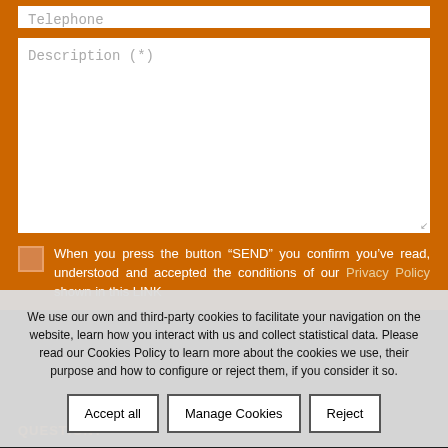Telephone
Description (*)
When you press the button “SEND” you confirm you’ve read, understood and accepted the conditions of our Privacy Policy shown in this LINK
Send
We use our own and third-party cookies to facilitate your navigation on the website, learn how you interact with us and collect statistical data. Please read our Cookies Policy to learn more about the cookies we use, their purpose and how to configure or reject them, if you consider it so.
Accept all
Manage Cookies
Reject
QUESTION?